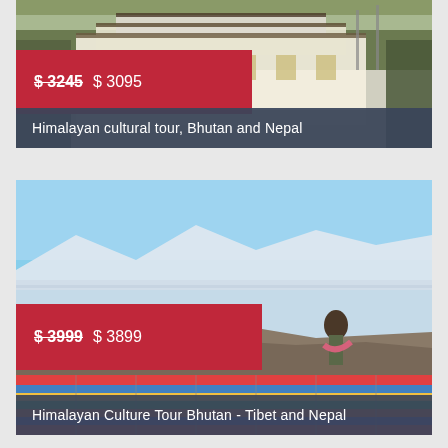[Figure (photo): Himalayan temple/monastery building with mountains and trees in background, Bhutan]
$ 3245  $ 3095
Himalayan cultural tour, Bhutan and Nepal
[Figure (photo): Person standing on rocky shore with frozen lake and mountains in background, colorful prayer flags in foreground, Tibet/Bhutan]
$ 3999  $ 3899
Himalayan Culture Tour Bhutan - Tibet and Nepal